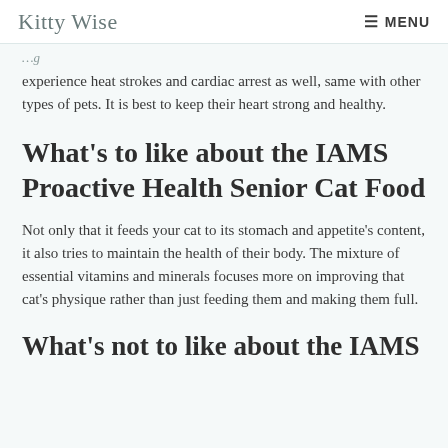Kitty Wise   MENU
experience heat strokes and cardiac arrest as well, same with other types of pets. It is best to keep their heart strong and healthy.
What's to like about the IAMS Proactive Health Senior Cat Food
Not only that it feeds your cat to its stomach and appetite's content, it also tries to maintain the health of their body. The mixture of essential vitamins and minerals focuses more on improving that cat's physique rather than just feeding them and making them full.
What's not to like about the IAMS